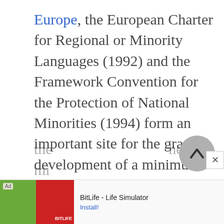Europe, the European Charter for Regional or Minority Languages (1992) and the Framework Convention for the Protection of National Minorities (1994) form an important site for the gradual development of a minimum standard with regard to the legal position of regional and minority languages. The Framework Convention is self-executing, but only regarding the loose commitments that the mi
[Figure (screenshot): Advertisement banner at bottom of screen showing BitLife - Life Simulator app ad with Install button]